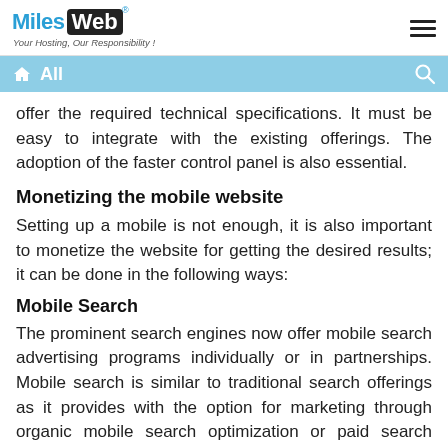[Figure (logo): MilesWeb logo with tagline 'Your Hosting, Our Responsibility!']
All
offer the required technical specifications. It must be easy to integrate with the existing offerings. The adoption of the faster control panel is also essential.
Monetizing the mobile website
Setting up a mobile is not enough, it is also important to monetize the website for getting the desired results; it can be done in the following ways:
Mobile Search
The prominent search engines now offer mobile search advertising programs individually or in partnerships. Mobile search is similar to traditional search offerings as it provides with the option for marketing through organic mobile search optimization or paid search marketing.